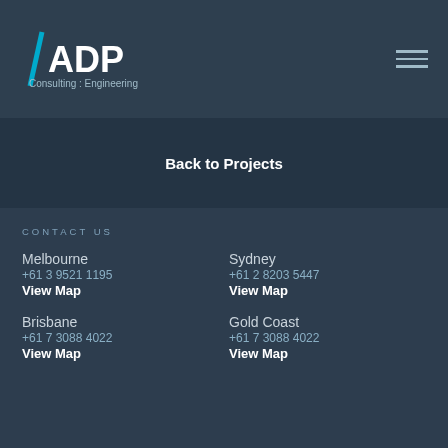[Figure (logo): ADP Consulting : Engineering logo with cyan slash mark on dark background]
Back to Projects
CONTACT US
Melbourne
+61 3 9521 1195
View Map
Sydney
+61 2 8203 5447
View Map
Brisbane
+61 7 3088 4022
View Map
Gold Coast
+61 7 3088 4022
View Map